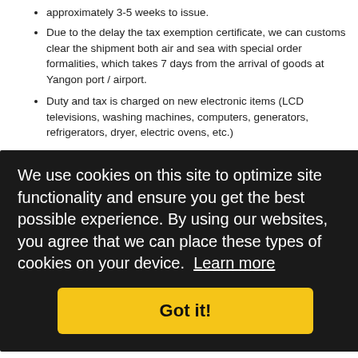approximately 3-5 weeks to issue.
Due to the delay the tax exemption certificate, we can customs clear the shipment both air and sea with special order formalities, which takes 7 days from the arrival of goods at Yangon port / airport.
Duty and tax is charged on new electronic items (LCD televisions, washing machines, computers, generators, refrigerators, dryer, electric ovens, etc.)
The letter of employment for returning citizens must include the position held and duration of employment
Returning citizens must have lived abroad for 12 full months for duty free import.
Returning citizens may import used household goods duty free if they are returning to a permanent residence. Items are: washing machines,
All goods imported duty free by a non - citizens must also be exported upon future departure from Myanmar.
[Figure (screenshot): Cookie consent overlay with dark background. Text reads: 'We use cookies on this site to optimize site functionality and ensure you get the best possible experience. By using our websites, you agree that we can place these types of cookies on your device. Learn more'. Yellow 'Got it!' button.]